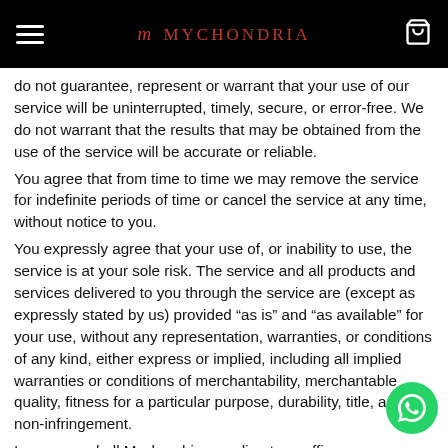MYCHONDRIA
do not guarantee, represent or warrant that your use of our service will be uninterrupted, timely, secure, or error-free. We do not warrant that the results that may be obtained from the use of the service will be accurate or reliable.
You agree that from time to time we may remove the service for indefinite periods of time or cancel the service at any time, without notice to you.
You expressly agree that your use of, or inability to use, the service is at your sole risk. The service and all products and services delivered to you through the service are (except as expressly stated by us) provided “as is” and “as available” for your use, without any representation, warranties, or conditions of any kind, either express or implied, including all implied warranties or conditions of merchantability, merchantable quality, fitness for a particular purpose, durability, title, and non-infringement.
In no case shall Mychondria, our directors, officers, employees, affiliates, agents, contractors, interns, suppliers,